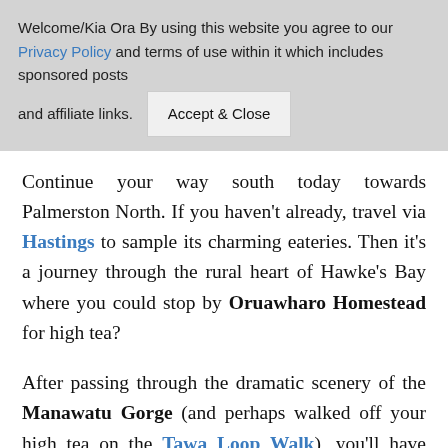Welcome/Kia Ora By using this website you agree to our Privacy Policy and terms of use within it which includes sponsored posts and affiliate links. [Accept & Close]
Continue your way south today towards Palmerston North. If you haven't already, travel via Hastings to sample its charming eateries. Then it's a journey through the rural heart of Hawke's Bay where you could stop by Oruawharo Homestead for high tea?
After passing through the dramatic scenery of the Manawatu Gorge (and perhaps walked off your high tea on the Tawa Loop Walk), you'll have more cool cafes to experience in